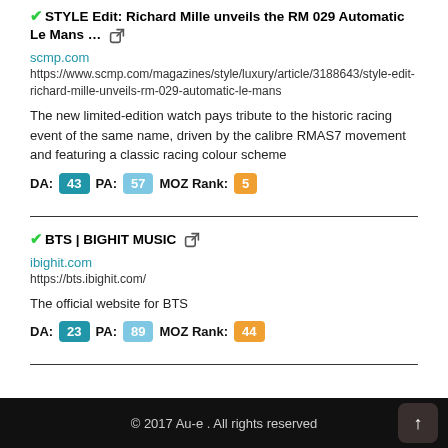✔STYLE Edit: Richard Mille unveils the RM 029 Automatic Le Mans … 🔗
scmp.com
https://www.scmp.com/magazines/style/luxury/article/3188643/style-edit-richard-mille-unveils-rm-029-automatic-le-mans
The new limited-edition watch pays tribute to the historic racing event of the same name, driven by the calibre RMAS7 movement and featuring a classic racing colour scheme
DA: 43   PA: 57   MOZ Rank: 5
✔BTS | BIGHIT MUSIC 🔗
ibighit.com
https://bts.ibighit.com/
The official website for BTS
DA: 23   PA: 89   MOZ Rank: 44
© 2017 Au-e . All rights reserved